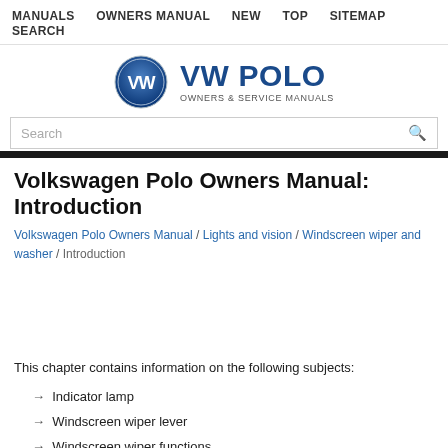MANUALS   OWNERS MANUAL   NEW   TOP   SITEMAP   SEARCH
[Figure (logo): VW Polo Owners & Service Manuals logo with Volkswagen circular emblem]
Volkswagen Polo Owners Manual: Introduction
Volkswagen Polo Owners Manual / Lights and vision / Windscreen wiper and washer / Introduction
This chapter contains information on the following subjects:
→  Indicator lamp
→  Windscreen wiper lever
→  Windscreen wiper functions